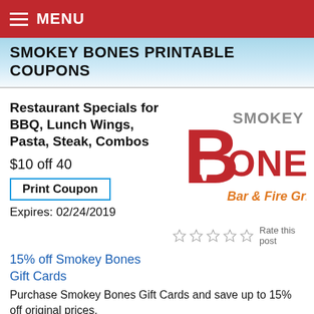MENU
SMOKEY BONES PRINTABLE COUPONS
Restaurant Specials for BBQ, Lunch Wings, Pasta, Steak, Combos
$10 off 40
Print Coupon
Expires: 02/24/2019
[Figure (logo): Smokey Bones Bar & Fire Grill logo]
Rate this post
15% off Smokey Bones Gift Cards
Purchase Smokey Bones Gift Cards and save up to 15% off original prices.
Offers and Specials